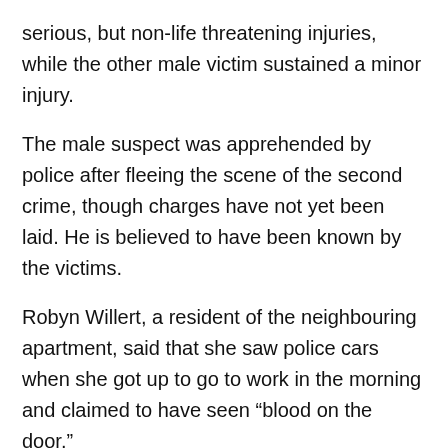serious, but non-life threatening injuries, while the other male victim sustained a minor injury.
The male suspect was apprehended by police after fleeing the scene of the second crime, though charges have not yet been laid. He is believed to have been known by the victims.
Robyn Willert, a resident of the neighbouring apartment, said that she saw police cars when she got up to go to work in the morning and claimed to have seen “blood on the door.”
“The only thing that kind of concerns me is that I walk to work at five a.m.,” she said. “It is a little unsettling”